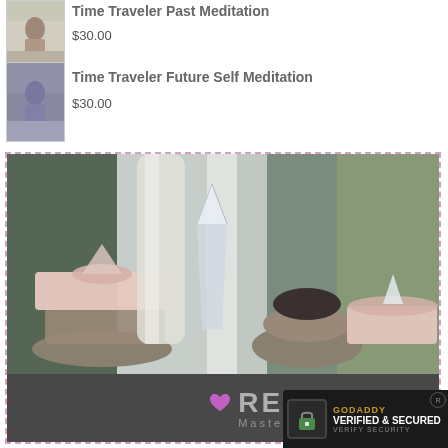[Figure (photo): Product thumbnail: person meditating indoors]
Time Traveler Past Meditation
$30.00
[Figure (photo): Product thumbnail: person meditating seated]
Time Traveler Future Self Meditation
$30.00
[Figure (photo): Promotional image showing crystals, rose quartz slabs, stacked stones and crystal point on a table with white fabric backdrop. Banner reads REIKI Master Teacher Training with heart logo.]
[Figure (logo): GoDaddy Verified & Secured seal in the bottom right corner]